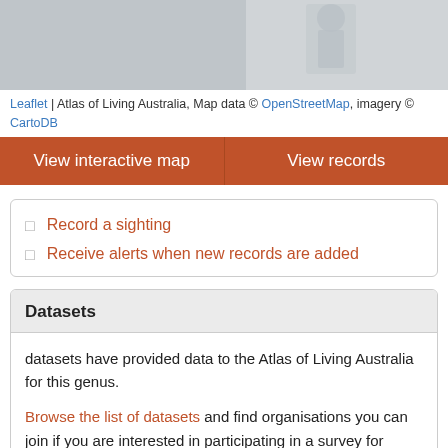[Figure (map): Partial map view from Atlas of Living Australia with a silhouette figure visible on the right side]
Leaflet | Atlas of Living Australia, Map data © OpenStreetMap, imagery © CartoDB
View interactive map | View records
Record a sighting
Receive alerts when new records are added
Datasets
datasets have provided data to the Atlas of Living Australia for this genus.
Browse the list of datasets and find organisations you can join if you are interested in participating in a survey for species of Trymalium Fenzl.